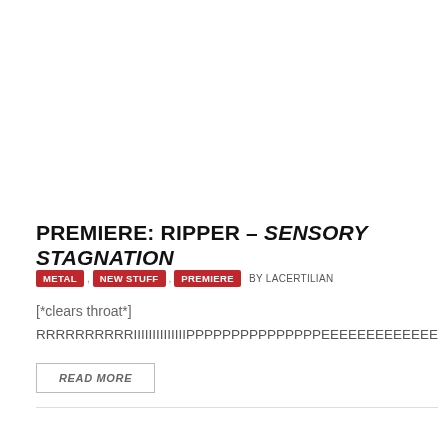PREMIERE: RIPPER – SENSORY STAGNATION
METAL , NEW STUFF , PREMIERE  BY LACERTILIAN
[*clears throat*]
RRRRRRRRRRIIIIIIIIIIIIIIPPPPPPPPPPPPPPPEEEEEEEEEEEEEEEEEEEE…
READ MORE